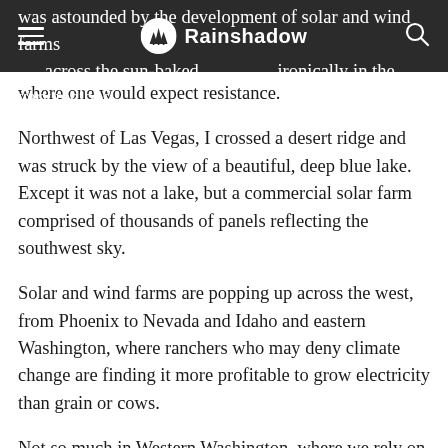Rainshadow
was astounded by the development of solar and wind farms across the sun-baked — ironically in the very regions where one would expect resistance.
Northwest of Las Vegas, I crossed a desert ridge and was struck by the view of a beautiful, deep blue lake.  Except it was not a lake, but a commercial solar farm comprised of thousands of panels reflecting the southwest sky.
Solar and wind farms are popping up across the west, from Phoenix to Nevada and Idaho and eastern Washington, where ranchers who may deny climate change are finding it more profitable to grow electricity than grain or cows.
Not so much in Western Washington, where we rely on equally green hydropower and, when we need a little extra, we buy our solar from our friends on the other side of the